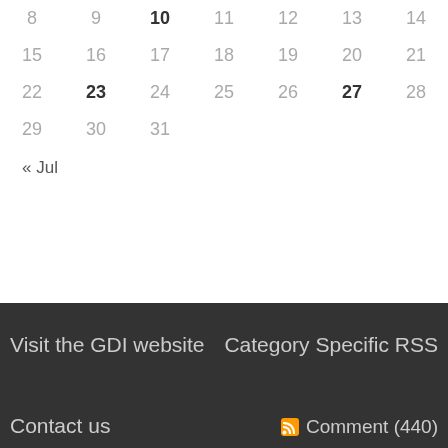| 8 | 9 | 10 | 11 | 12 | 13 | 14 |
| 15 | 16 | 17 | 18 | 19 | 20 | 21 |
| 22 | 23 | 24 | 25 | 26 | 27 | 28 |
| 29 | 30 | 31 |  |  |  |  |
« Jul
Visit the GDI website
Category Specific RSS
Contact us
Comment (440)